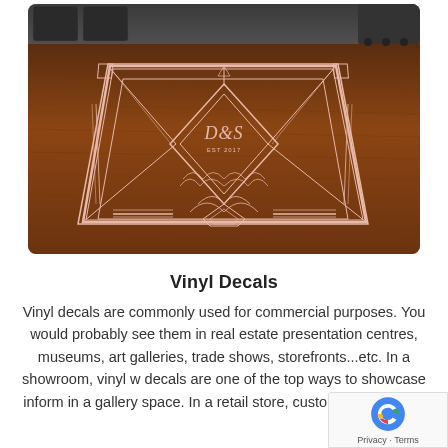[Figure (photo): Photo of a decorative vinyl floor decal with Art Deco geometric pattern featuring 'D&S EST 2017' monogram, applied on a wooden floor in what appears to be an event venue or showroom.]
Vinyl Decals
Vinyl decals are commonly used for commercial purposes. You would probably see them in real estate presentation centres, museums, art galleries, trade shows, storefronts...etc. In a showroom, vinyl w decals are one of the top ways to showcase inform in a gallery space. In a retail store, custom vinyl window